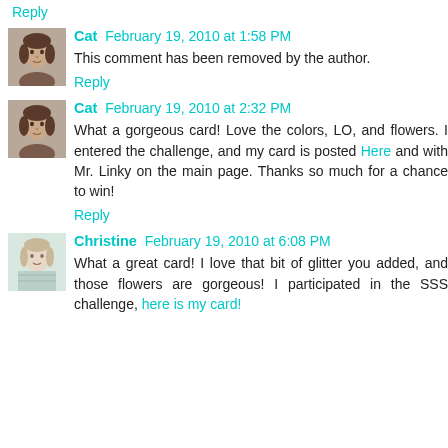Reply
[Figure (photo): Avatar photo of Cat - woman with dark hair]
Cat February 19, 2010 at 1:58 PM
This comment has been removed by the author.
Reply
[Figure (photo): Avatar photo of Cat - woman with dark hair]
Cat February 19, 2010 at 2:32 PM
What a gorgeous card! Love the colors, LO, and flowers. I entered the challenge, and my card is posted Here and with Mr. Linky on the main page. Thanks so much for a chance to win!
Reply
[Figure (photo): Avatar photo of Christine - light colored]
Christine February 19, 2010 at 6:08 PM
What a great card! I love that bit of glitter you added, and those flowers are gorgeous! I participated in the SSS challenge, here is my card!